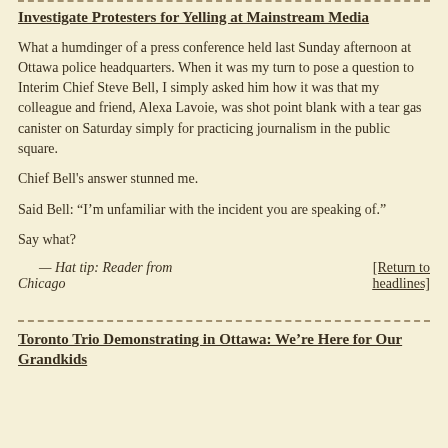Investigate Protesters for Yelling at Mainstream Media
What a humdinger of a press conference held last Sunday afternoon at Ottawa police headquarters. When it was my turn to pose a question to Interim Chief Steve Bell, I simply asked him how it was that my colleague and friend, Alexa Lavoie, was shot point blank with a tear gas canister on Saturday simply for practicing journalism in the public square.
Chief Bell's answer stunned me.
Said Bell: “I’m unfamiliar with the incident you are speaking of.”
Say what?
— Hat tip: Reader from Chicago
[Return to headlines]
Toronto Trio Demonstrating in Ottawa: We’re Here for Our Grandkids